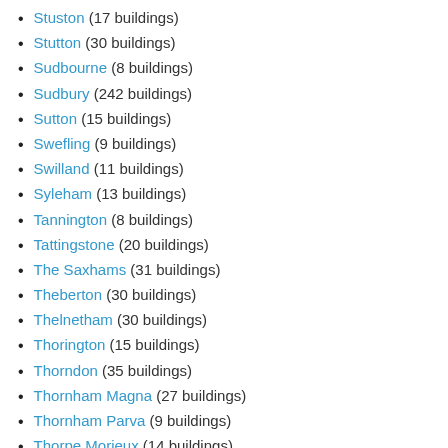Stuston (17 buildings)
Stutton (30 buildings)
Sudbourne (8 buildings)
Sudbury (242 buildings)
Sutton (15 buildings)
Swefling (9 buildings)
Swilland (11 buildings)
Syleham (13 buildings)
Tannington (8 buildings)
Tattingstone (20 buildings)
The Saxhams (31 buildings)
Theberton (30 buildings)
Thelnetham (30 buildings)
Thorington (15 buildings)
Thorndon (35 buildings)
Thornham Magna (27 buildings)
Thornham Parva (9 buildings)
Thorpe Morieux (14 buildings)
Thrandeston (26 buildings)
Thurston (24 buildings)